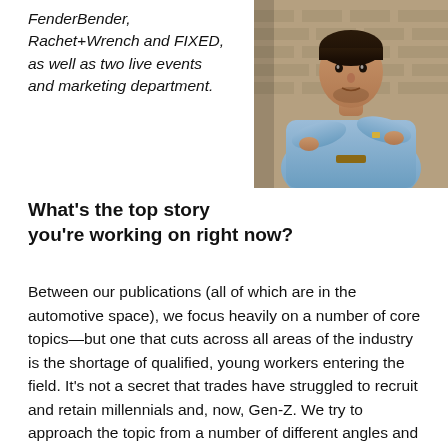FenderBender, Rachet+Wrench and FIXED, as well as two live events and marketing department.
[Figure (photo): A man in a light blue shirt with arms crossed, standing in front of a brick wall background.]
What’s the top story you’re working on right now?
Between our publications (all of which are in the automotive space), we focus heavily on a number of core topics—but one that cuts across all areas of the industry is the shortage of qualified, young workers entering the field. It’s not a secret that trades have struggled to recruit and retain millennials and, now, Gen-Z. We try to approach the topic from a number of different angles and provide our readers with strategies to overcome that in their own businesses.